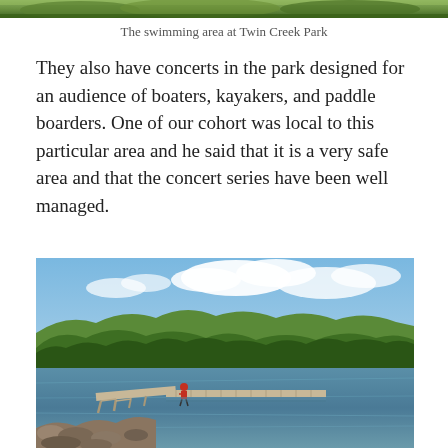[Figure (photo): Top strip of green trees/foliage, partial view of swimming area at Twin Creek Park]
The swimming area at Twin Creek Park
They also have concerts in the park designed for an audience of boaters, kayakers, and paddle boarders. One of our cohort was local to this particular area and he said that it is a very safe area and that the concert series have been well managed.
[Figure (photo): A lake with a wooden dock/pier extending into calm blue-green water, surrounded by dense green forested hills under a blue sky with white clouds. Rocky shoreline in the foreground with a person in red standing on the dock.]